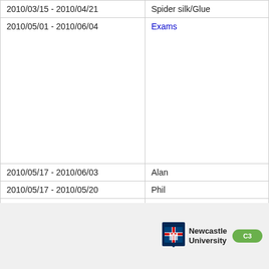| Date Range | Topic |
| --- | --- |
| 2010/03/15 - 2010/04/21 | Spider silk/Glue |
| 2010/05/01 - 2010/06/04 | Exams |
| 2010/05/17 - 2010/06/03 | Alan |
| 2010/05/17 - 2010/05/20 | Phil |
| 2010/05/17 - 2010/06/04 | DaYe |
| 2010/05/17 - 2010/06/02 | Younus |
[Figure (logo): Newcastle University logo and another green logo at the bottom of the page]